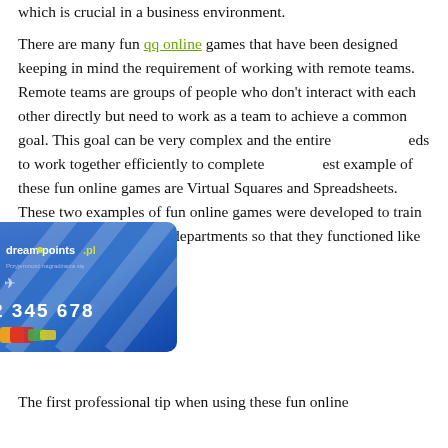which is crucial in a business environment.
There are many fun qq online games that have been designed keeping in mind the requirement of working with remote teams. Remote teams are groups of people who don't interact with each other directly but need to work as a team to achieve a common goal. This goal can be very complex and the entire [team] needs to work together efficiently to complete [it]. [The b]est example of these fun online games are Virtual Squares and Spreadsheets. These two examples of fun online games were developed to train the employees of virtual departments so that they functioned like a team.
[Figure (photo): A blue credit/loyalty card from dreampoints.pl with card number 2 345 678 and small card icons at the bottom left.]
The first professional tip when using these fun online